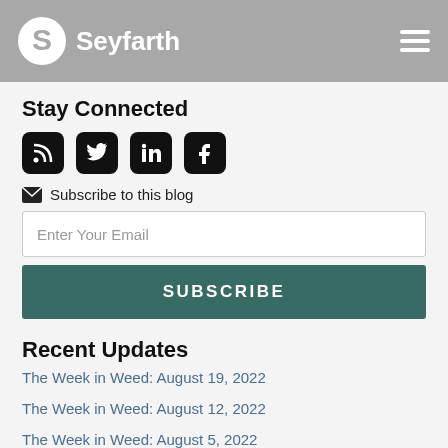Seyfarth
Stay Connected
[Figure (logo): Social media icons: RSS, Twitter, LinkedIn, Facebook]
Subscribe to this blog
Enter Your Email
SUBSCRIBE
Recent Updates
The Week in Weed: August 19, 2022
The Week in Weed: August 12, 2022
The Week in Weed: August 5, 2022